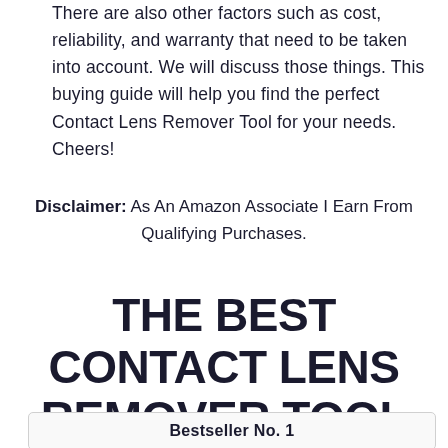There are also other factors such as cost, reliability, and warranty that need to be taken into account. We will discuss those things. This buying guide will help you find the perfect Contact Lens Remover Tool for your needs. Cheers!
Disclaimer: As An Amazon Associate I Earn From Qualifying Purchases.
THE BEST CONTACT LENS REMOVER TOOL COMPARISONS CHART
Bestseller No. 1